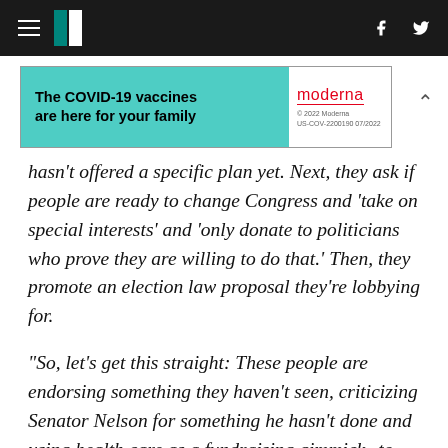HuffPost navigation with hamburger menu, logo, facebook and twitter icons
[Figure (infographic): Moderna COVID-19 vaccine advertisement banner: 'The COVID-19 vaccines are here for your family' with Moderna logo, teal/cyan background on left, white on right. © 2022 Moderna US-COV-2200190 07/2022]
hasn't offered a specific plan yet. Next, they ask if people are ready to change Congress and 'take on special interests' and 'only donate to politicians who prove they are willing to do that.' Then, they promote an election law proposal they're lobbying for.
"So, let's get this straight: These people are endorsing something they haven't seen, criticizing Senator Nelson for something he hasn't done and using health care as a fundraising gimmick--to lobby for unrelated